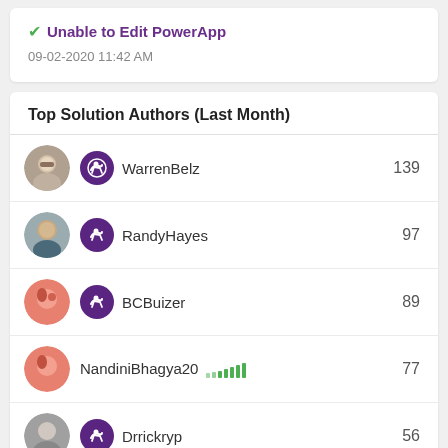✓ Unable to Edit PowerApp
09-02-2020 11:42 AM
Top Solution Authors (Last Month)
WarrenBelz 139
RandyHayes 97
BCBuizer 89
NandiniBhagya20 77
Drrickryp 56